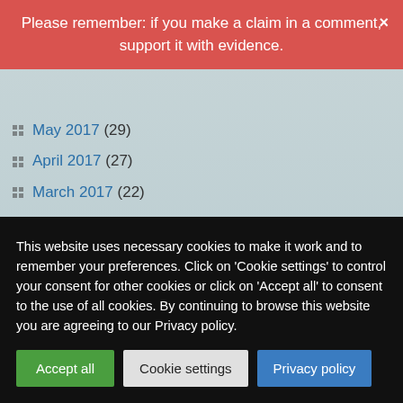Please remember: if you make a claim in a comment, support it with evidence.
May 2017 (29)
April 2017 (27)
March 2017 (22)
February 2017 (19)
January 2017 (26)
December 2016 (24)
November 2016 (19)
October 2016 (26)
September 2016 (23)
August 2016 (21)
This website uses necessary cookies to make it work and to remember your preferences. Click on 'Cookie settings' to control your consent for other cookies or click on 'Accept all' to consent to the use of all cookies. By continuing to browse this website you are agreeing to our Privacy policy.